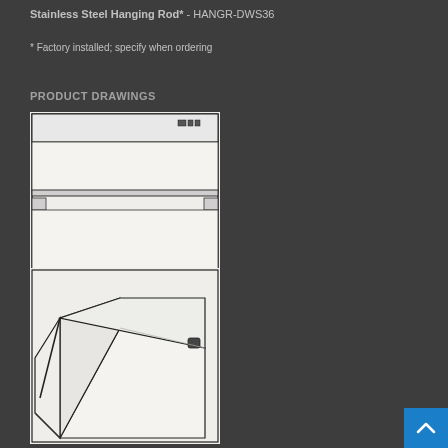Stainless Steel Hanging Rod* - HANGR-DWS36
* Factory installed; specify when ordering
PRODUCT DRAWINGS
[Figure (engineering-diagram): Front/top view engineering drawing of a dishwasher unit showing top panel with control buttons, handle recess, mounting holes on sides, and lower drawer section with brackets]
[Figure (engineering-diagram): Perspective/angled view engineering drawing of the dishwasher unit showing open door/drawer at an angle, revealing interior cavity and a small control element on the right side]